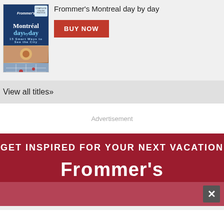[Figure (illustration): Cover of Frommer's Montreal day by day travel book]
Frommer's Montreal day by day
BUY NOW
View all titles»
Advertisement
[Figure (infographic): Red banner advertisement: GET INSPIRED FOR YOUR NEXT VACATION with Frommer's logo in white, pink overlay strip with close button]
GET INSPIRED FOR YOUR NEXT VACATION
Frommer's